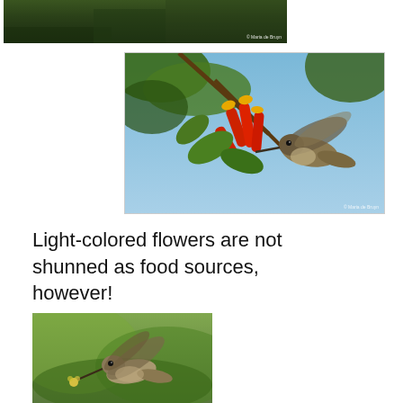[Figure (photo): Partial top photo showing dark green foliage background with a small watermark text '© Maria de Bruyn' at bottom right]
[Figure (photo): Hummingbird feeding from bright red tubular flowers on a branch against a blue sky background, with small watermark at bottom right]
Light-colored flowers are not shunned as food sources, however!
[Figure (photo): Hummingbird hovering near a small yellow flower, green blurred background]